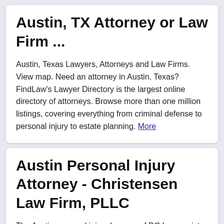Austin, TX Attorney or Law Firm ...
Austin, Texas Lawyers, Attorneys and Law Firms. View map. Need an attorney in Austin, Texas? FindLaw's Lawyer Directory is the largest online directory of attorneys. Browse more than one million listings, covering everything from criminal defense to personal injury to estate planning. More
Austin Personal Injury Attorney - Christensen Law Firm, PLLC
The Austin personal injury lawyers of DC Law assist victims of negligence throughout Travis